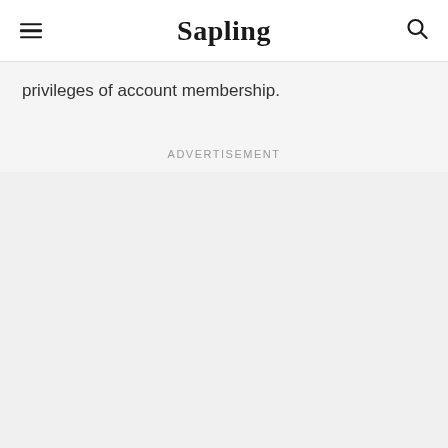Sapling
privileges of account membership.
Advertisement
[Figure (other): Advertisement placeholder area with light gray background]